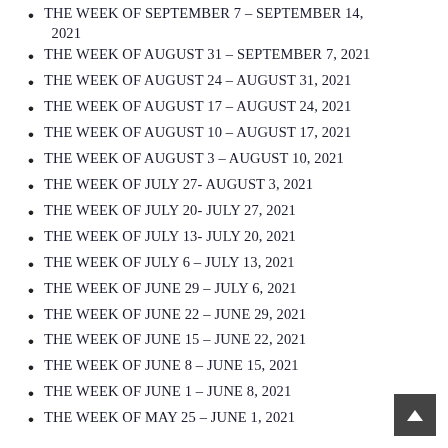THE WEEK OF SEPTEMBER 7 – SEPTEMBER 14, 2021
THE WEEK OF AUGUST 31 – SEPTEMBER 7, 2021
THE WEEK OF AUGUST 24 – AUGUST 31, 2021
THE WEEK OF AUGUST 17 – AUGUST 24, 2021
THE WEEK OF AUGUST 10 – AUGUST 17, 2021
THE WEEK OF AUGUST 3 – AUGUST 10, 2021
THE WEEK OF JULY 27- AUGUST 3, 2021
THE WEEK OF JULY 20- JULY 27, 2021
THE WEEK OF JULY 13- JULY 20, 2021
THE WEEK OF JULY 6 – JULY 13, 2021
THE WEEK OF JUNE 29 – JULY 6, 2021
THE WEEK OF JUNE 22 – JUNE 29, 2021
THE WEEK OF JUNE 15 – JUNE 22, 2021
THE WEEK OF JUNE 8 – JUNE 15, 2021
THE WEEK OF JUNE 1 – JUNE 8, 2021
THE WEEK OF MAY 25 – JUNE 1, 2021